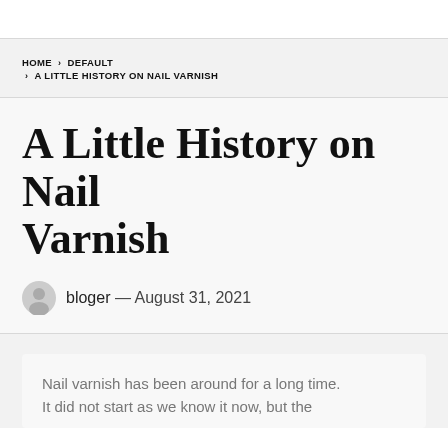HOME > DEFAULT > A LITTLE HISTORY ON NAIL VARNISH
A Little History on Nail Varnish
bloger — August 31, 2021
Nail varnish has been around for a long time. It did not start as we know it now, but the